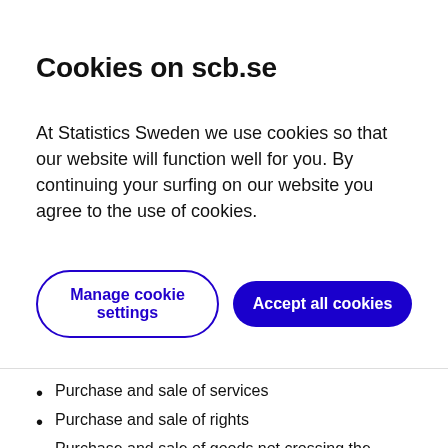Cookies on scb.se
At Statistics Sweden we use cookies so that our website will function well for you. By continuing your surfing on our website you agree to the use of cookies.
Manage cookie settings | Accept all cookies
Purchase and sale of services
Purchase and sale of rights
Purchase and sale of goods not crossing the Swedish border